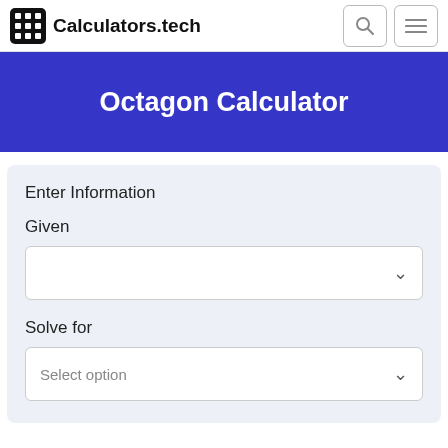Calculators.tech
Octagon Calculator
Enter Information
Given
Solve for
Select option